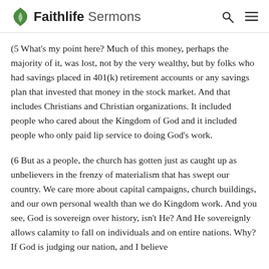Faithlife Sermons
(5 What's my point here? Much of this money, perhaps the majority of it, was lost, not by the very wealthy, but by folks who had savings placed in 401(k) retirement accounts or any savings plan that invested that money in the stock market. And that includes Christians and Christian organizations. It included people who cared about the Kingdom of God and it included people who only paid lip service to doing God's work.
(6 But as a people, the church has gotten just as caught up as unbelievers in the frenzy of materialism that has swept our country. We care more about capital campaigns, church buildings, and our own personal wealth than we do Kingdom work. And you see, God is sovereign over history, isn't He? And He sovereignly allows calamity to fall on individuals and on entire nations. Why? If God is judging our nation, and I believe